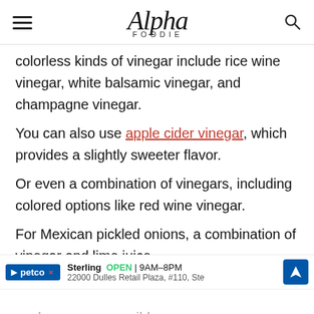Alpha Foodie
colorless kinds of vinegar include rice wine vinegar, white balsamic vinegar, and champagne vinegar.
You can also use apple cider vinegar, which provides a slightly sweeter flavor.
Or even a combination of vinegars, including colored options like red wine vinegar.
For Mexican pickled onions, a combination of vinegar and lime juice work... ild also work.
[Figure (other): Advertisement banner for Petco store in Sterling, showing OPEN 9AM-8PM, address 22000 Dulles Retail Plaza, #110, Ste, with navigation icon]